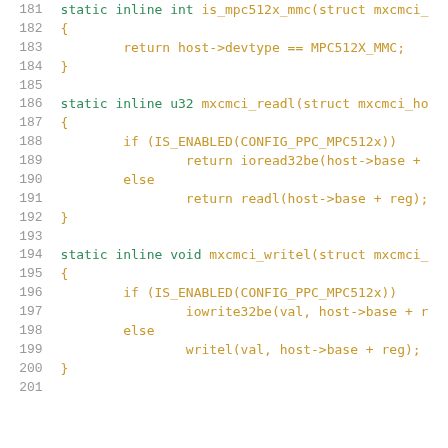181  static inline int is_mpc512x_mmc(struct mxcmci_
182  {
183          return host->devtype == MPC512X_MMC;
184  }
185
186  static inline u32 mxcmci_readl(struct mxcmci_ho
187  {
188          if (IS_ENABLED(CONFIG_PPC_MPC512x))
189                  return ioread32be(host->base +
190          else
191                  return readl(host->base + reg);
192  }
193
194  static inline void mxcmci_writel(struct mxcmci_
195  {
196          if (IS_ENABLED(CONFIG_PPC_MPC512x))
197                  iowrite32be(val, host->base + r
198          else
199                  writel(val, host->base + reg);
200  }
201